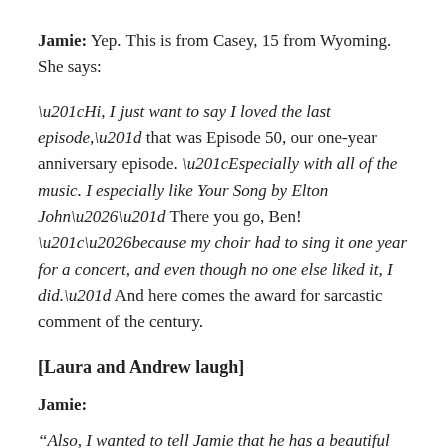Jamie: Yep. This is from Casey, 15 from Wyoming. She says:
“Hi, I just want to say I loved the last episode,” that was Episode 50, our one-year anniversary episode. “Especially with all of the music. I especially like Your Song by Elton John…” There you go, Ben! “…because my choir had to sing it one year for a concert, and even though no one else liked it, I did.” And here comes the award for sarcastic comment of the century.
[Laura and Andrew laugh]
Jamie:
“Also, I wanted to tell Jamie that he has a beautiful voice, and should pursue a career in music.”